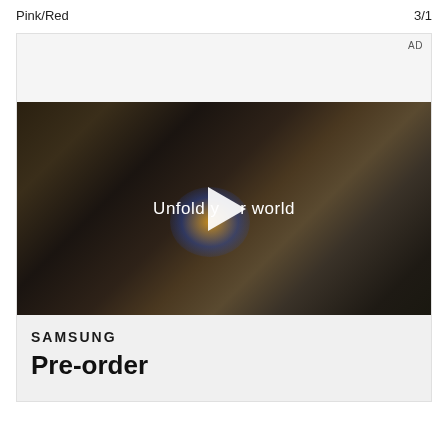Pink/Red    3/1
[Figure (screenshot): Samsung advertisement showing a video player with a woman holding a folding phone in a car interior. Text 'Unfold your world' overlaid with a play button. Below the video is the Samsung logo and beginning of 'Pre-order' text. AD label in top right corner.]